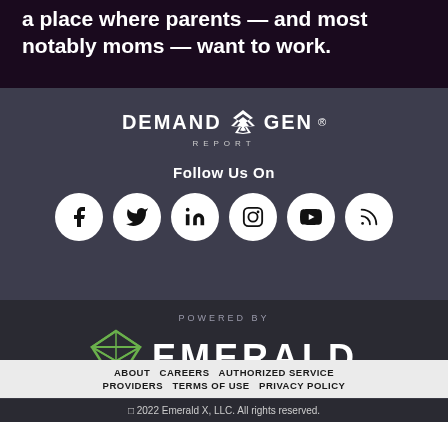a place where parents — and most notably moms — want to work.
[Figure (logo): DemandGen Report logo with tornado icon, white text on dark gray background]
Follow Us On
[Figure (illustration): Six white circular social media icons: Facebook, Twitter, LinkedIn, Instagram, YouTube, RSS]
[Figure (logo): Powered by Emerald logo with green diamond icon and white EMERALD text]
© 2022 Emerald X, LLC. All rights reserved.
ABOUT   CAREERS   AUTHORIZED SERVICE PROVIDERS   TERMS OF USE   PRIVACY POLICY